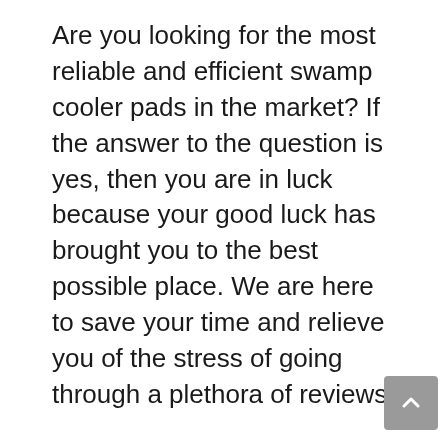Are you looking for the most reliable and efficient swamp cooler pads in the market? If the answer to the question is yes, then you are in luck because your good luck has brought you to the best possible place. We are here to save your time and relieve you of the stress of going through a plethora of reviews.
It is quite a common phenomenon to be confused over which is the swamp cooler pads to buy. This dilemma arises due to the existence of various types of swamp cooler padss that are present in the market. To reduce your conundrum, we have prepared a comprehensive guide of how you may pick the best swamp cooler